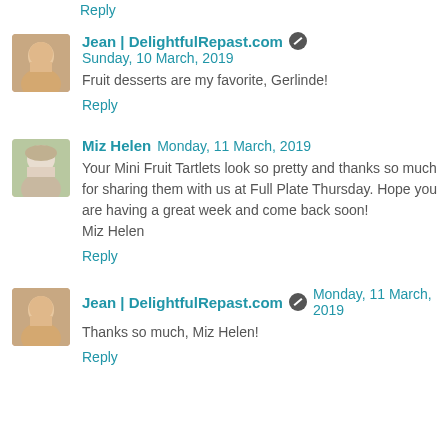Reply
[Figure (photo): Avatar photo of Jean from DelightfulRepast.com]
Jean | DelightfulRepast.com  Sunday, 10 March, 2019
Fruit desserts are my favorite, Gerlinde!
Reply
[Figure (photo): Avatar photo of Miz Helen]
Miz Helen  Monday, 11 March, 2019
Your Mini Fruit Tartlets look so pretty and thanks so much for sharing them with us at Full Plate Thursday. Hope you are having a great week and come back soon!
Miz Helen
Reply
[Figure (photo): Avatar photo of Jean from DelightfulRepast.com]
Jean | DelightfulRepast.com  Monday, 11 March, 2019
Thanks so much, Miz Helen!
Reply